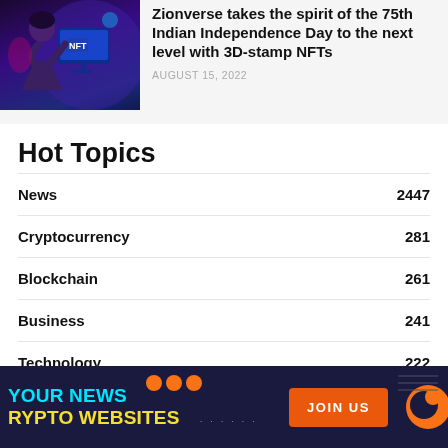[Figure (photo): Person using a computer with NFT display in purple/blue lighting]
Zionverse takes the spirit of the 75th Indian Independence Day to the next level with 3D-stamp NFTs
AUGUST 15, 2022
Hot Topics
News 2447
Cryptocurrency 281
Blockchain 261
Business 241
Technology 222
[Figure (infographic): Dark navy banner ad with cyan/yellow text 'YOUR NEWS CRYPTO WEBSITES', orange JOIN US button, orange circular logo icon, and orange dot decorations]